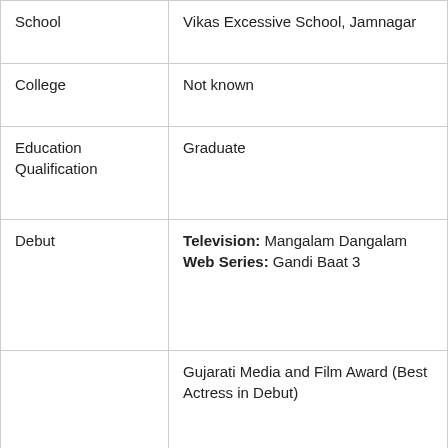| School | Vikas Excessive School, Jamnagar |
| College | Not known |
| Education Qualification | Graduate |
| Debut | Television: Mangalam Dangalam
Web Series: Gandi Baat 3 |
| Awards | Gujarati Media and Film Award (Best Actress in Debut) |